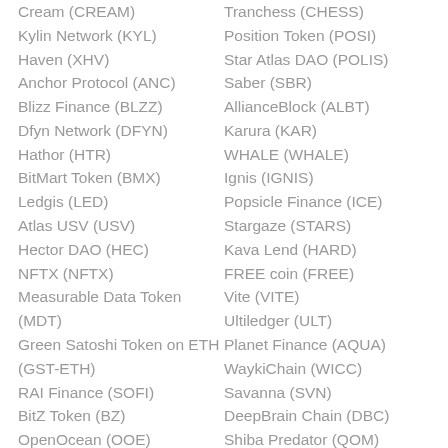Cream (CREAM)
Kylin Network (KYL)
Haven (XHV)
Anchor Protocol (ANC)
Blizz Finance (BLZZ)
Dfyn Network (DFYN)
Hathor (HTR)
BitMart Token (BMX)
Ledgis (LED)
Atlas USV (USV)
Hector DAO (HEC)
NFTX (NFTX)
Measurable Data Token (MDT)
Green Satoshi Token on ETH (GST-ETH)
RAI Finance (SOFI)
BitZ Token (BZ)
OpenOcean (OOE)
Tranchess (CHESS)
Position Token (POSI)
Star Atlas DAO (POLIS)
Saber (SBR)
AllianceBlock (ALBT)
Karura (KAR)
WHALE (WHALE)
Ignis (IGNIS)
Popsicle Finance (ICE)
Stargaze (STARS)
Kava Lend (HARD)
FREE coin (FREE)
Vite (VITE)
Ultiledger (ULT)
Planet Finance (AQUA)
WaykiChain (WICC)
Savanna (SVN)
DeepBrain Chain (DBC)
Shiba Predator (QOM)